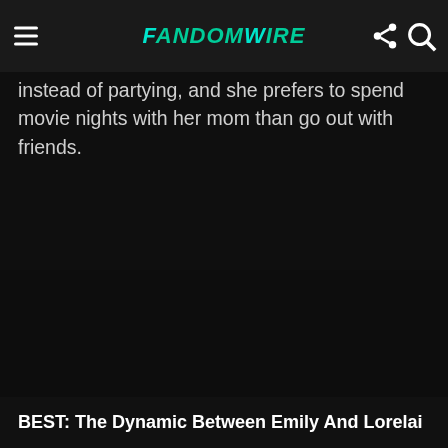FandomWire
instead of partying, and she prefers to spend movie nights with her mom than go out with friends.
BEST: The Dynamic Between Emily And Lorelai